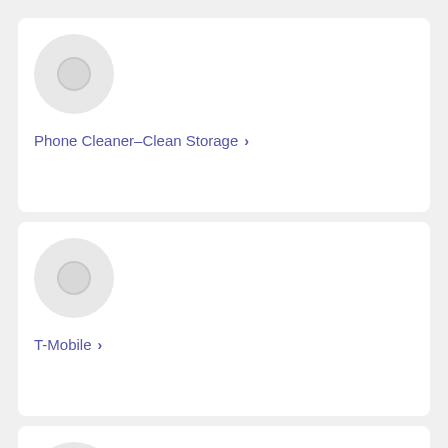[Figure (screenshot): App listing card for Phone Cleaner-Clean Storage with circular placeholder icon and blue link text with chevron]
[Figure (screenshot): App listing card for T-Mobile with circular placeholder icon and blue link text with chevron]
[Figure (screenshot): Partial app listing card showing circular placeholder icon, cut off at bottom]